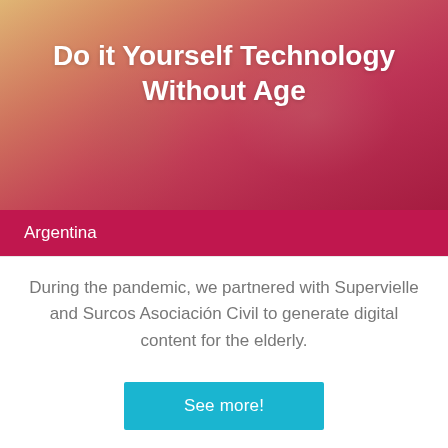[Figure (photo): Elderly people using a tablet device, shown with a warm reddish-orange gradient overlay. Two seniors are visible, one holding a stylus or pen interacting with a tablet.]
Do it Yourself Technology Without Age
Argentina
During the pandemic, we partnered with Supervielle and Surcos Asociación Civil to generate digital content for the elderly.
See more!